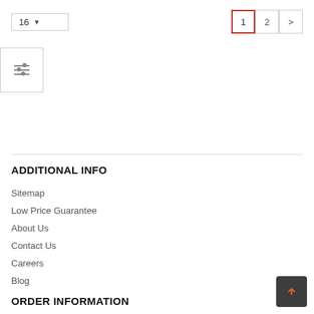[Figure (screenshot): Pagination controls: per-page selector showing 16 with dropdown arrow, and page buttons 1 (active, red border), 2, and next arrow]
[Figure (screenshot): Filter/sort icon button with three horizontal lines and slider indicators]
ADDITIONAL INFO
Sitemap
Low Price Guarantee
About Us
Contact Us
Careers
Blog
ORDER INFORMATION